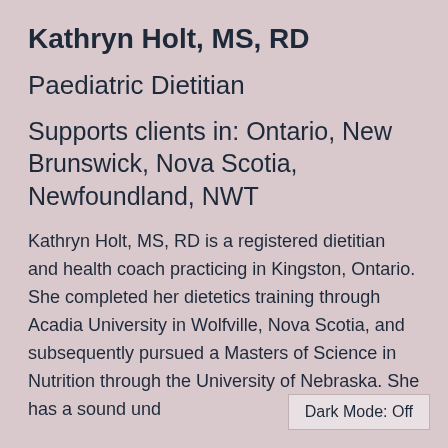Kathryn Holt, MS, RD
Paediatric Dietitian
Supports clients in: Ontario, New Brunswick, Nova Scotia, Newfoundland, NWT
Kathryn Holt, MS, RD is a registered dietitian and health coach practicing in Kingston, Ontario. She completed her dietetics training through Acadia University in Wolfville, Nova Scotia, and subsequently pursued a Masters of Science in Nutrition through the University of Nebraska. She has a sound und…